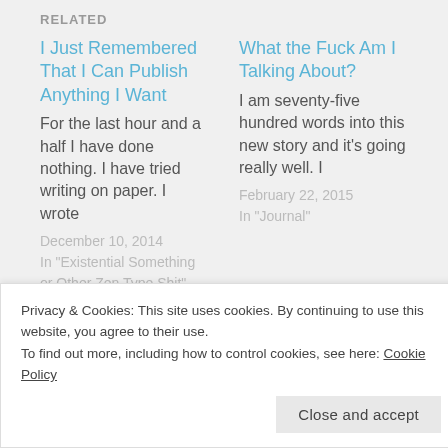RELATED
I Just Remembered That I Can Publish Anything I Want
For the last hour and a half I have done nothing. I have tried writing on paper. I wrote
December 10, 2014
In "Existential Something or Other Zen Type Shit"
What the Fuck Am I Talking About?
I am seventy-five hundred words into this new story and it's going really well. I
February 22, 2015
In "Journal"
Privacy & Cookies: This site uses cookies. By continuing to use this website, you agree to their use.
To find out more, including how to control cookies, see here: Cookie Policy
Close and accept